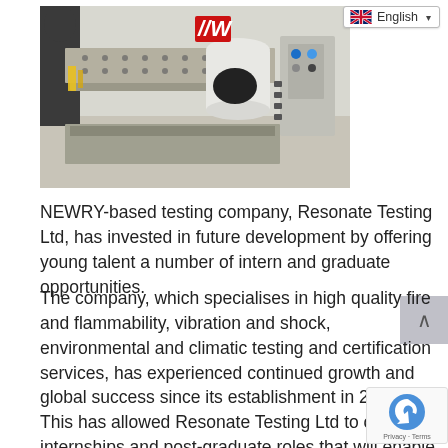[Figure (photo): Industrial testing machine (vibration/mechanical testing equipment) in a laboratory setting, with a person partially visible in the background. The machine has a flat perforated table surface with a large white cylindrical actuator. Red 'W' logo visible on the machine.]
NEWRY-based testing company, Resonate Testing Ltd, has invested in future development by offering young talent a number of intern and graduate opportunities.
The company, which specialises in high quality fire and flammability, vibration and shock, environmental and climatic testing and certification services, has experienced continued growth and global success since its establishment in 2015. This has allowed Resonate Testing Ltd to offer internships and post-graduate roles that will enable young talent to see first-hand, the practical elements involved in working for an innovative global company.